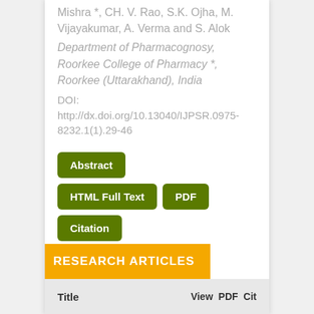Mishra *, CH. V. Rao, S.K. Ojha, M. Vijayakumar, A. Verma and S. Alok
Department of Pharmacognosy, Roorkee College of Pharmacy *, Roorkee (Uttarakhand), India
DOI: http://dx.doi.org/10.13040/IJPSR.0975-8232.1(1).29-46
Abstract
HTML Full Text
PDF
Citation
RESEARCH ARTICLES
| Title | View | PDF | Cit |
| --- | --- | --- | --- |